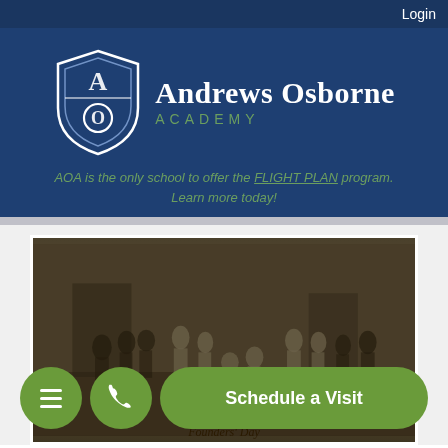Login
[Figure (logo): Andrews Osborne Academy logo with AOA shield emblem. Shield contains stylized 'A' and 'O' letters. Text reads 'Andrews Osborne ACADEMY']
AOA is the only school to offer the FLIGHT PLAN program. Learn more today!
[Figure (photo): Sepia historical photograph labeled 'Founders' Day' showing a group of people on a stage, appears to be a theatrical performance or school event from early 20th century]
Founders' Day